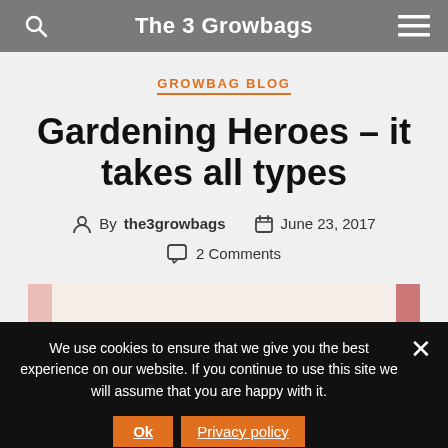The 3 Growbags
GROWBAG BLOG
Gardening Heroes – it takes all types
By the3growbags  June 23, 2017  2 Comments
[Figure (photo): Partial view of a photograph showing flowers, peeking in from bottom of content area]
We use cookies to ensure that we give you the best experience on our website. If you continue to use this site we will assume that you are happy with it.
Ok  Privacy policy